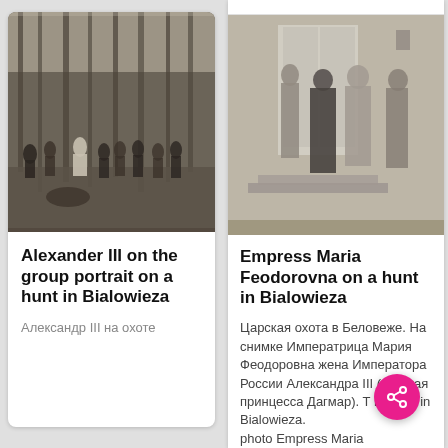[Figure (photo): Black and white historical photograph of Alexander III with a group on a hunt in Bialowieza forest]
Alexander III on the group portrait on a hunt in Bialowieza
Александр III на охоте
[Figure (photo): Black and white historical photograph showing Empress Maria Feodorovna and others on a hunt in Bialowieza]
Empress Maria Feodorovna on a hunt in Bialowieza
Царская охота в Беловеже. На снимке Императрица Мария Феодоровна жена Императора России Александра III (датская принцесса Дагмар). The hunting in Bialowieza. photo Empress Maria